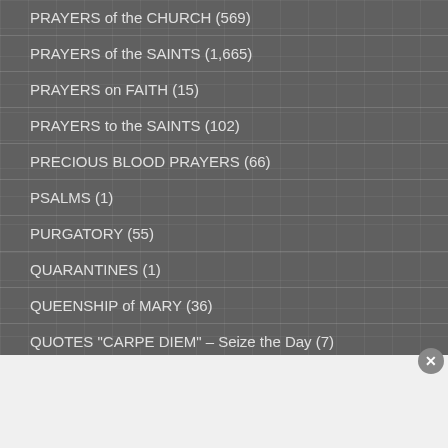PRAYERS of the CHURCH (569)
PRAYERS of the SAINTS (1,665)
PRAYERS on FAITH (15)
PRAYERS to the SAINTS (102)
PRECIOUS BLOOD PRAYERS (66)
PSALMS (1)
PURGATORY (55)
QUARANTINES (1)
QUEENSHIP of MARY (36)
QUOTES "CARPE DIEM" – Seize the Day (7)
QUOTES – J R R Tolkien and MORE (549)
Advertisements